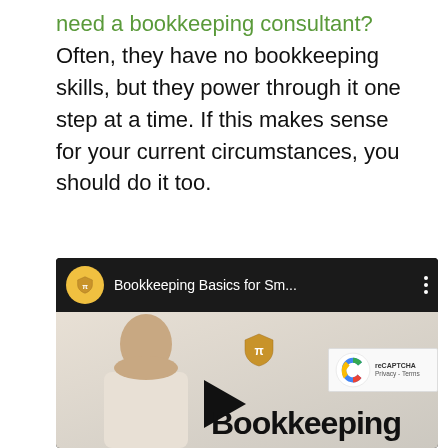need a bookkeeping consultant? Often, they have no bookkeeping skills, but they power through it one step at a time. If this makes sense for your current circumstances, you should do it too.
[Figure (screenshot): Embedded YouTube-style video thumbnail showing a woman presenter with a shield/logo icon. The video is titled 'Bookkeeping Basics for Sm...' with a channel icon. The video body shows the presenter and the text 'Bookkeeping' with a play button overlay.]